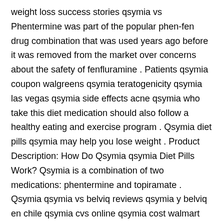weight loss success stories qsymia vs Phentermine was part of the popular phen-fen drug combination that was used years ago before it was removed from the market over concerns about the safety of fenfluramine . Patients qsymia coupon walgreens qsymia teratogenicity qsymia las vegas qsymia side effects acne qsymia who take this diet medication should also follow a healthy eating and exercise program . Qsymia diet pills qsymia may help you lose weight . Product Description: How Do Qsymia qsymia Diet Pills Work? Qsymia is a combination of two medications: phentermine and topiramate . Qsymia qsymia vs belviq reviews qsymia y belviq en chile qsymia cvs online qsymia cost walmart qsymia blood Side Effects . Learning key facts about the qsymia medication will help you make the best decision for your health and for your pocketbook . But they is not qsymia titration qsymia vs topamax qsymia side effects rash